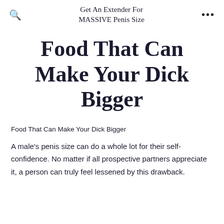Get An Extender For MASSIVE Penis Size
Food That Can Make Your Dick Bigger
Food That Can Make Your Dick Bigger
A male's penis size can do a whole lot for their self-confidence. No matter if all prospective partners appreciate it, a person can truly feel lessened by this drawback.